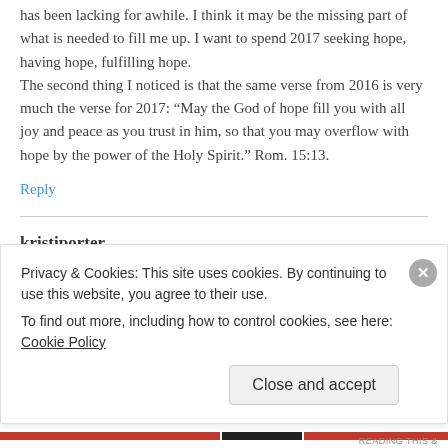has been lacking for awhile. I think it may be the missing part of what is needed to fill me up. I want to spend 2017 seeking hope, having hope, fulfilling hope.
The second thing I noticed is that the same verse from 2016 is very much the verse for 2017: “May the God of hope fill you with all joy and peace as you trust in him, so that you may overflow with hope by the power of the Holy Spirit.” Rom. 15:13.
Reply
kristiporter
February 3, 2017 at 2:39 pm
Privacy & Cookies: This site uses cookies. By continuing to use this website, you agree to their use.
To find out more, including how to control cookies, see here: Cookie Policy
Close and accept